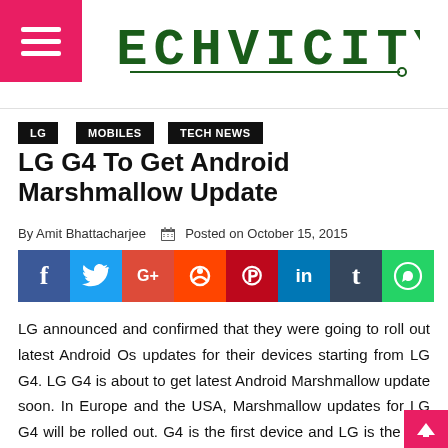TECHVICITY
LG
MOBILES
TECH NEWS
LG G4 To Get Android Marshmallow Update
By Amit Bhattacharjee  Posted on October 15, 2015
[Figure (infographic): Social sharing buttons: Facebook, Twitter, Google+, Reddit, Pinterest, LinkedIn, Tumblr, WhatsApp]
LG announced and confirmed that they were going to roll out latest Android Os updates for their devices starting from LG G4. LG G4 is about to get latest Android Marshmallow update soon. In Europe and the USA, Marshmallow updates for LG G4 will be rolled out. G4 is the first device and LG is the first brand to roll